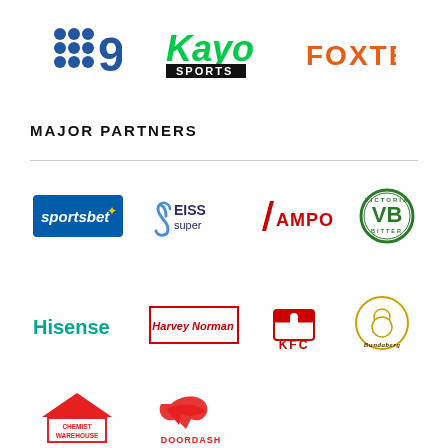[Figure (logo): Nine Network logo - 3x3 blue dots grid and numeral 9]
[Figure (logo): Kayo Sports logo - green stylized text with black SPORTS badge]
[Figure (logo): Foxtel logo - orange bold text]
MAJOR PARTNERS
[Figure (logo): Sportsbet logo - blue box with white italic text and gold star]
[Figure (logo): EISS super logo - blue swirl with EISS super text]
[Figure (logo): Ampol logo - red chevron slash and AMPOL text]
[Figure (logo): Victoria Bitter VB circular badge logo]
[Figure (logo): Hisense logo - teal/green text]
[Figure (logo): Harvey Norman logo - red bordered italic text box]
[Figure (logo): KFC logo - colonel figure and KFC red text]
[Figure (logo): Bundaberg logo - circular badge with polar bear]
[Figure (logo): Chemist Warehouse logo - red house shape with white text]
[Figure (logo): DoorDash logo - red curved arrow and red text DOORDASH]